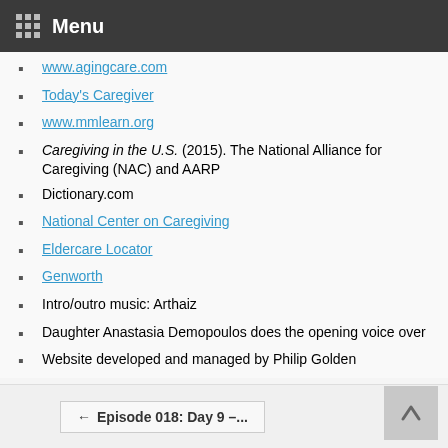Menu
www.agingcare.com
Today's Caregiver
www.mmlearn.org
Caregiving in the U.S. (2015). The National Alliance for Caregiving (NAC) and AARP
Dictionary.com
National Center on Caregiving
Eldercare Locator
Genworth
Intro/outro music: Arthaiz
Daughter Anastasia Demopoulos does the opening voice over
Website developed and managed by Philip Golden
← Episode 018: Day 9 –...